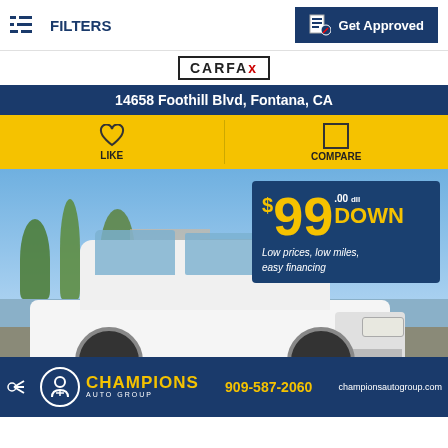FILTERS | Get Approved
[Figure (logo): CARFAX logo in bordered box]
14658 Foothill Blvd, Fontana, CA
LIKE | COMPARE
[Figure (photo): White Honda Pilot SUV parked outdoors with $99.00 DOWN promotional banner overlay and Champions Auto Group dealer logo at bottom]
$99.00 DOWN Low prices, low miles, easy financing
CHAMPIONS AUTO GROUP | 909-587-2060 | championsautogroup.com